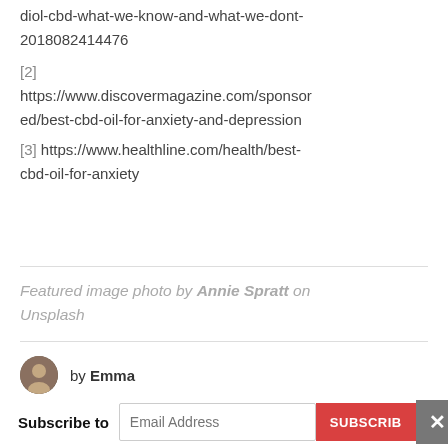diol-cbd-what-we-know-and-what-we-dont-2018082414476
[2]
https://www.discovermagazine.com/sponsored/best-cbd-oil-for-anxiety-and-depression
[3] https://www.healthline.com/health/best-cbd-oil-for-anxiety
Featured image photo by Annie Spratt on Unsplash
by Emma
Subscribe to  Email Address  SUBSCRIBE